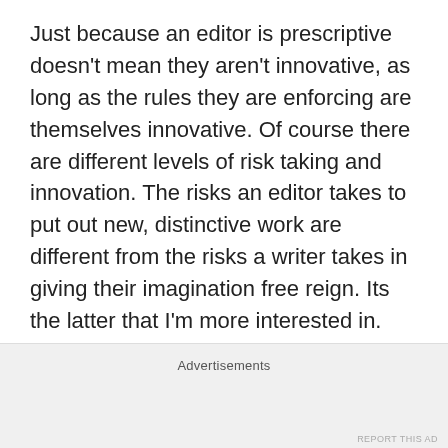Just because an editor is prescriptive doesn't mean they aren't innovative, as long as the rules they are enforcing are themselves innovative. Of course there are different levels of risk taking and innovation. The risks an editor takes to put out new, distinctive work are different from the risks a writer takes in giving their imagination free reign. Its the latter that I'm more interested in. Too much of the fiction I encounter now is too consciously constructed. Too keen on being correct, over being passionate. Interesting that Cat Valente is being discussed on Vector, one of a handful of writers I would say fulfils what I'm
Advertisements